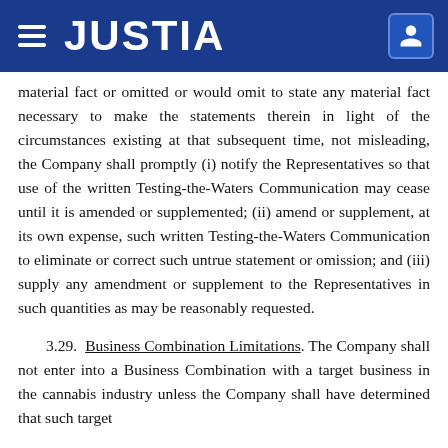JUSTIA
material fact or omitted or would omit to state any material fact necessary to make the statements therein in light of the circumstances existing at that subsequent time, not misleading, the Company shall promptly (i) notify the Representatives so that use of the written Testing-the-Waters Communication may cease until it is amended or supplemented; (ii) amend or supplement, at its own expense, such written Testing-the-Waters Communication to eliminate or correct such untrue statement or omission; and (iii) supply any amendment or supplement to the Representatives in such quantities as may be reasonably requested.
3.29. Business Combination Limitations. The Company shall not enter into a Business Combination with a target business in the cannabis industry unless the Company shall have determined that such target